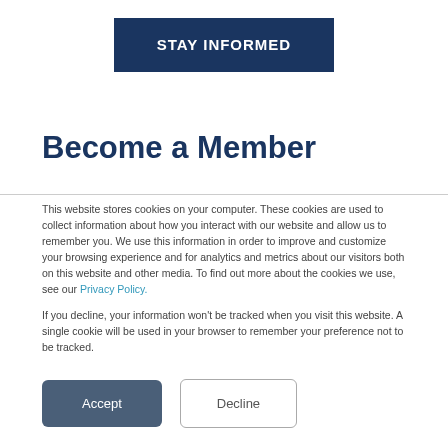STAY INFORMED
Become a Member
This website stores cookies on your computer. These cookies are used to collect information about how you interact with our website and allow us to remember you. We use this information in order to improve and customize your browsing experience and for analytics and metrics about our visitors both on this website and other media. To find out more about the cookies we use, see our Privacy Policy.
If you decline, your information won’t be tracked when you visit this website. A single cookie will be used in your browser to remember your preference not to be tracked.